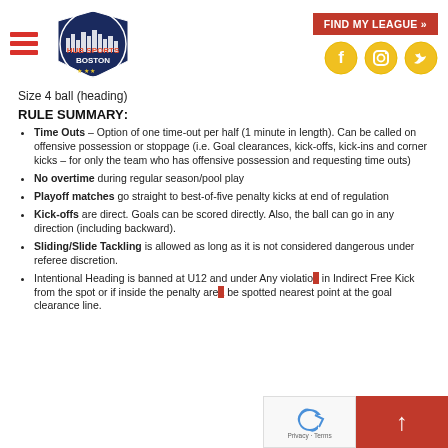[Figure (logo): Hub Sports Boston logo with city skyline]
[Figure (infographic): Find My League red button and social media icons (Facebook, Instagram, Twitter) in gold circles]
Size 4 ball (heading)
RULE SUMMARY:
Time Outs – Option of one time-out per half (1 minute in length). Can be called on offensive possession or stoppage (i.e. Goal clearances, kick-offs, kick-ins and corner kicks – for only the team who has offensive possession and requesting time outs)
No overtime during regular season/pool play
Playoff matches go straight to best-of-five penalty kicks at end of regulation
Kick-offs are direct. Goals can be scored directly. Also, the ball can go in any direction (including backward).
Sliding/Slide Tackling is allowed as long as it is not considered dangerous under referee discretion.
Intentional Heading is banned at U12 and under Any violation in Indirect Free Kick from the spot or if inside the penalty are be spotted nearest point at the goal clearance line.